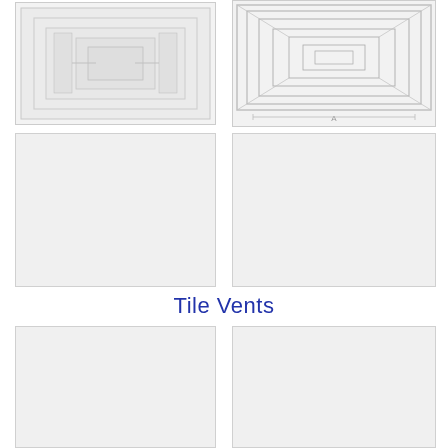[Figure (engineering-diagram): Top-left tile showing embossed/engraved decorative panel with ornamental design]
[Figure (engineering-diagram): Top-right tile showing geometric concentric square frame pattern with label 'A' at bottom]
[Figure (illustration): Middle-left blank/plain white tile panel]
[Figure (illustration): Middle-right blank/plain white tile panel]
Tile Vents
[Figure (illustration): Bottom-left blank/plain white tile vent panel]
[Figure (illustration): Bottom-right blank/plain white tile vent panel]